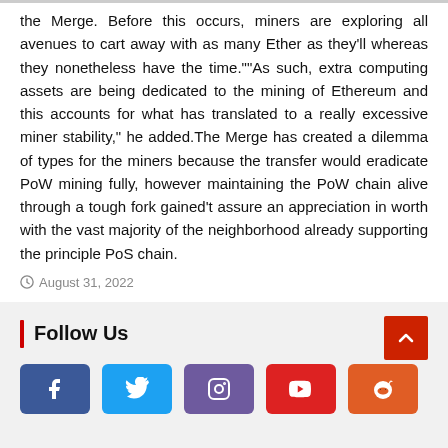the Merge. Before this occurs, miners are exploring all avenues to cart away with as many Ether as they'll whereas they nonetheless have the time.""As such, extra computing assets are being dedicated to the mining of Ethereum and this accounts for what has translated to a really excessive miner stability," he added.The Merge has created a dilemma of types for the miners because the transfer would eradicate PoW mining fully, however maintaining the PoW chain alive through a tough fork gained't assure an appreciation in worth with the vast majority of the neighborhood already supporting the principle PoS chain.
August 31, 2022
Follow Us
[Figure (other): Social media icon buttons: Facebook (blue), Twitter (light blue), Instagram (purple), YouTube (red), Reddit (orange)]